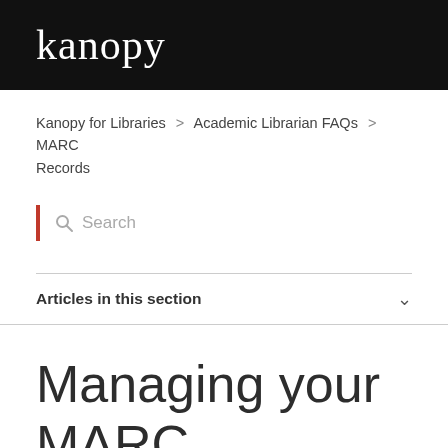kanopy
Kanopy for Libraries > Academic Librarian FAQs > MARC Records
Search
Articles in this section
Managing your MARC records